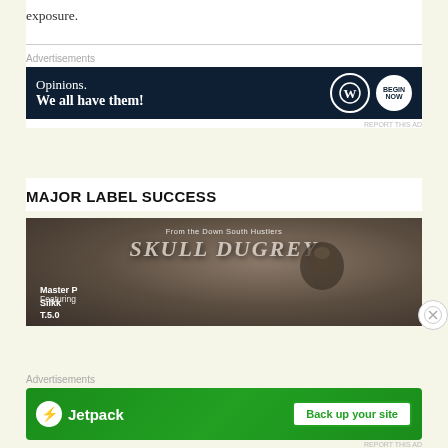exposure.
[Figure (infographic): WordPress advertisement banner with dark navy background. Text reads 'Opinions. We all have them!' with WordPress W logo and a round brand logo on the right.]
REPORT THIS AD
MAJOR LABEL SUCCESS
[Figure (photo): Album cover for 'Skull Dugrey' from the Down South Hustlers, featuring a large man wearing a patterned beanie, text 'From the Down South Hustlers', 'Featuring', 'Master P', 'Silkk', 'T.5.0' on the left side]
[Figure (infographic): Jetpack advertisement on green background. Shows Jetpack logo (bolt icon) with text 'Jetpack' and a 'Back up your site' button.]
REPORT THIS AD